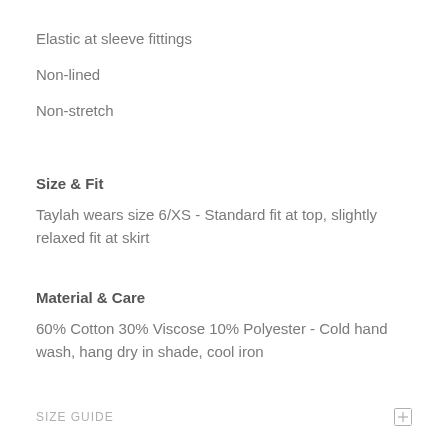Elastic at sleeve fittings
Non-lined
Non-stretch
Size & Fit
Taylah wears size 6/XS - Standard fit at top, slightly relaxed fit at skirt
Material & Care
60% Cotton 30% Viscose 10% Polyester - Cold hand wash, hang dry in shade, cool iron
SIZE GUIDE